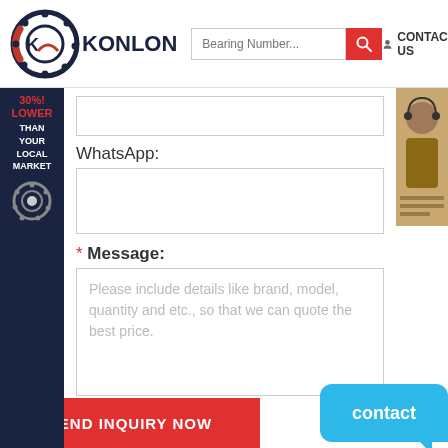[Figure (logo): Konlon bearing company logo with circular bearing graphic and KONLON text]
Bearing Number...
CONTACT US
[Figure (illustration): Sidebar with text: 30% LOWER THAN YOUR LOCAL MARKET and bearing icon]
WhatsApp:
* Message:
Please include details like brand, model, quantity and etc., so that we can quote the best price.
SEND INQUIRY NOW
contact